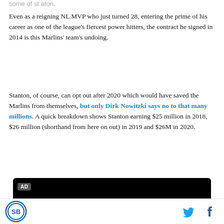Even as a reigning NL MVP who just turned 28, entering the prime of his career as one of the league's fiercest power hitters, the contract he signed in 2014 is this Marlins' team's undoing.
Stanton, of course, can opt out after 2020 which would have saved the Marlins from themselves, but only Dirk Nowitzki says no to that many millions. A quick breakdown shows Stanton earning $25 million in 2018, $26 million (shorthand from here on out) in 2019 and $26M in 2020.
[Figure (other): Black advertisement box with AD badge and partially visible logo at bottom]